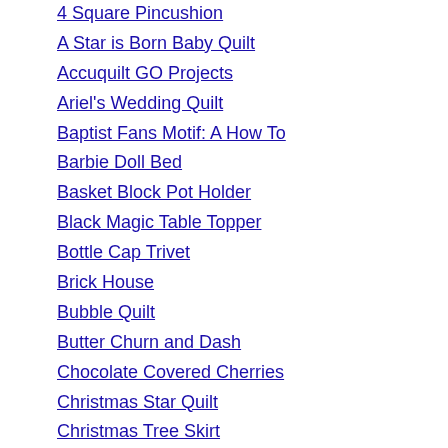4 Square Pincushion
A Star is Born Baby Quilt
Accuquilt GO Projects
Ariel's Wedding Quilt
Baptist Fans Motif: A How To
Barbie Doll Bed
Basket Block Pot Holder
Black Magic Table Topper
Bottle Cap Trivet
Brick House
Bubble Quilt
Butter Churn and Dash
Chocolate Covered Cherries
Christmas Star Quilt
Christmas Tree Skirt
Churn Dash Blocks in Plaids
Design on the Computer #1
Design on the Computer #2
Double Wedding Ring Quilt Tips